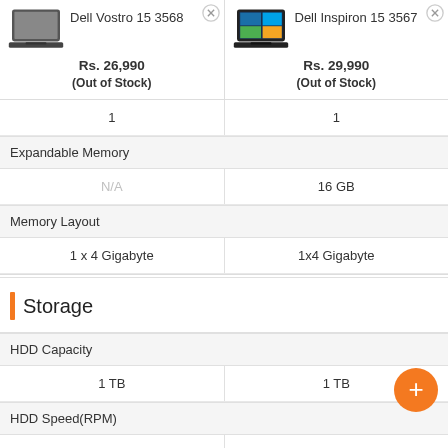| Dell Vostro 15 3568 | Dell Inspiron 15 3567 |
| --- | --- |
| Rs. 26,990 (Out of Stock) | Rs. 29,990 (Out of Stock) |
| 1 | 1 |
| Expandable Memory |  |
| N/A | 16 GB |
| Memory Layout |  |
| 1 x 4 Gigabyte | 1x4 Gigabyte |
| Storage |  |
| HDD Capacity |  |
| 1 TB | 1 TB |
| HDD Speed(RPM) |  |
| 5400 RPM | 5400 RPM |